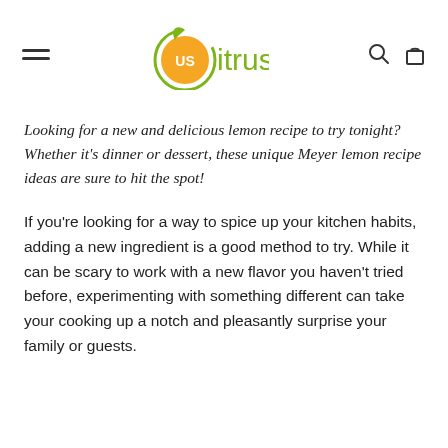US Citrus
Looking for a new and delicious lemon recipe to try tonight? Whether it's dinner or dessert, these unique Meyer lemon recipe ideas are sure to hit the spot!
If you're looking for a way to spice up your kitchen habits, adding a new ingredient is a good method to try. While it can be scary to work with a new flavor you haven't tried before, experimenting with something different can take your cooking up a notch and pleasantly surprise your family or guests.